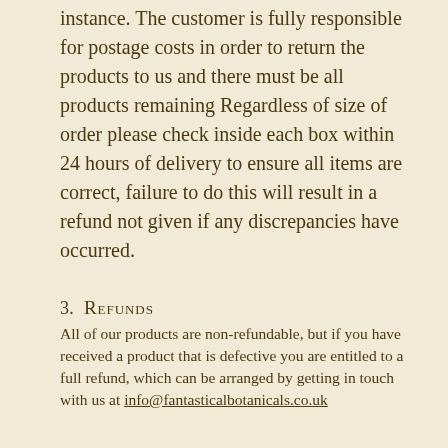instance. The customer is fully responsible for postage costs in order to return the products to us and there must be all products remaining Regardless of size of order please check inside each box within 24 hours of delivery to ensure all items are correct, failure to do this will result in a refund not given if any discrepancies have occurred.
3. Refunds
All of our products are non-refundable, but if you have received a product that is defective you are entitled to a full refund, which can be arranged by getting in touch with us at info@fantasticalbotanicals.co.uk